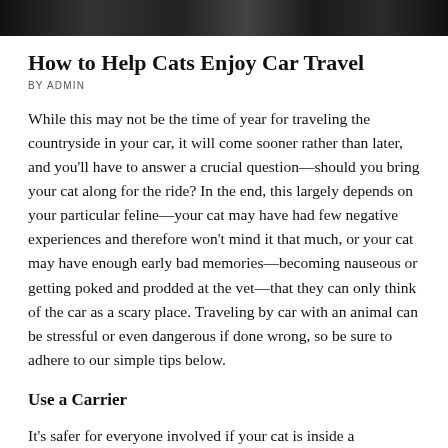[Figure (photo): Dark photo strip at top of page showing interior of a car, dimly lit]
How to Help Cats Enjoy Car Travel
BY ADMIN
While this may not be the time of year for traveling the countryside in your car, it will come sooner rather than later, and you'll have to answer a crucial question—should you bring your cat along for the ride? In the end, this largely depends on your particular feline—your cat may have had few negative experiences and therefore won't mind it that much, or your cat may have enough early bad memories—becoming nauseous or getting poked and prodded at the vet—that they can only think of the car as a scary place. Traveling by car with an animal can be stressful or even dangerous if done wrong, so be sure to adhere to our simple tips below.
Use a Carrier
It's safer for everyone involved if your cat is inside a